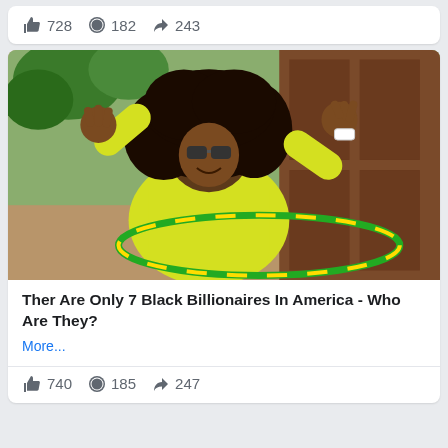728  182  243
[Figure (photo): Person in yellow long-sleeve top with large curly hair, sunglasses, arms raised, hula hooping outdoors near a wooden door]
Ther Are Only 7 Black Billionaires In America - Who Are They?
More...
740  185  247